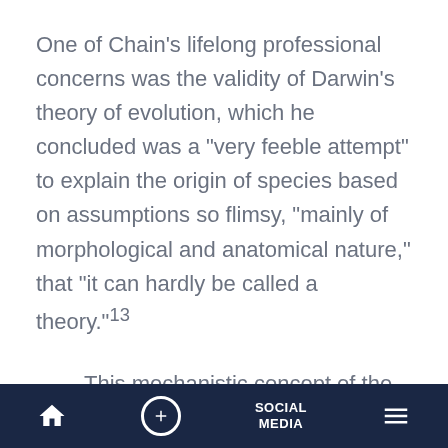One of Chain's lifelong professional concerns was the validity of Darwin's theory of evolution, which he concluded was a "very feeble attempt" to explain the origin of species based on assumptions so flimsy, "mainly of morphological and anatomical nature," that "it can hardly be called a theory."¹³
This mechanistic concept of the phenomena of life in its infinite varieties of manifestations which purports to ascribe the origin and
Home | + | SOCIAL MEDIA | Menu